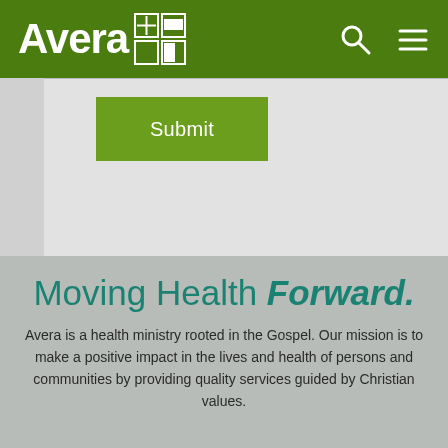Avera — Moving Health Forward
[Figure (logo): Avera Health logo with white text and cross icon on dark green header bar, with search and hamburger menu icons]
[Figure (screenshot): Submit button — olive green rectangular button with white text 'Submit' on a light grey form background]
Moving Health Forward.
Avera is a health ministry rooted in the Gospel. Our mission is to make a positive impact in the lives and health of persons and communities by providing quality services guided by Christian values.